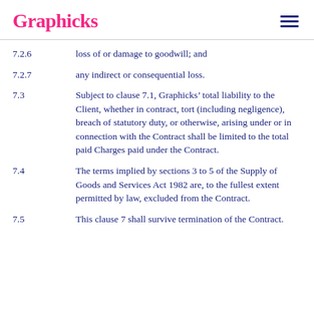Graphicks
7.2.6	loss of or damage to goodwill; and
7.2.7	any indirect or consequential loss.
7.3	Subject to clause 7.1, Graphicks’ total liability to the Client, whether in contract, tort (including negligence), breach of statutory duty, or otherwise, arising under or in connection with the Contract shall be limited to the total paid Charges paid under the Contract.
7.4	The terms implied by sections 3 to 5 of the Supply of Goods and Services Act 1982 are, to the fullest extent permitted by law, excluded from the Contract.
7.5	This clause 7 shall survive termination of the Contract.